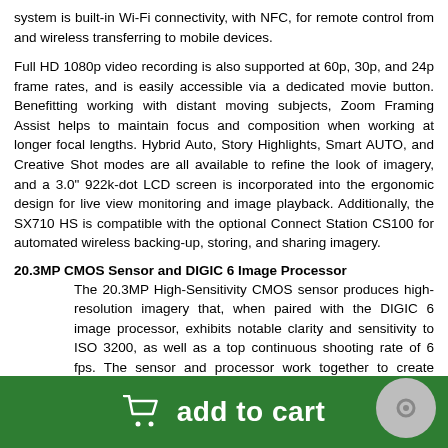system is built-in Wi-Fi connectivity, with NFC, for remote control from and wireless transferring to mobile devices.
Full HD 1080p video recording is also supported at 60p, 30p, and 24p frame rates, and is easily accessible via a dedicated movie button. Benefitting working with distant moving subjects, Zoom Framing Assist helps to maintain focus and composition when working at longer focal lengths. Hybrid Auto, Story Highlights, Smart AUTO, and Creative Shot modes are all available to refine the look of imagery, and a 3.0" 922k-dot LCD screen is incorporated into the ergonomic design for live view monitoring and image playback. Additionally, the SX710 HS is compatible with the optional Connect Station CS100 for automated wireless backing-up, storing, and sharing imagery.
20.3MP CMOS Sensor and DIGIC 6 Image Processor
The 20.3MP High-Sensitivity CMOS sensor produces high-resolution imagery that, when paired with the DIGIC 6 image processor, exhibits notable clarity and sensitivity to ISO 3200, as well as a top continuous shooting rate of 6 fps. The sensor and processor work together to create Canon's HS SYSTEM, which is able to produce clear, rich imagery in dimly-lit situations with minimal noise and vivid detail.
add to cart